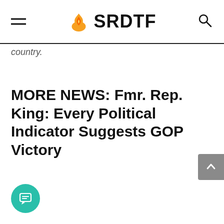SRDTF
country.
MORE NEWS: Fmr. Rep. King: Every Political Indicator Suggests GOP Victory